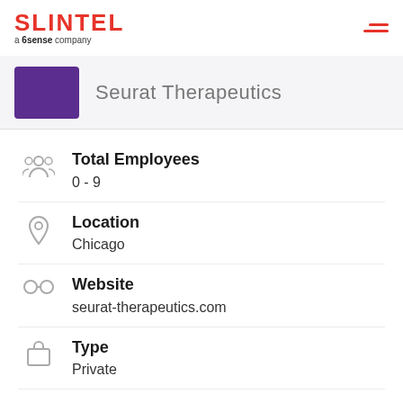[Figure (logo): Slintel logo — red uppercase SLINTEL text with tagline 'a 6sense company']
[Figure (logo): Seurat Therapeutics company logo — purple square placeholder with partially visible company name 'Seurat Therapeutics']
Total Employees
0 - 9
Location
Chicago
Website
seurat-therapeutics.com
Type
Private
Stock Symbol